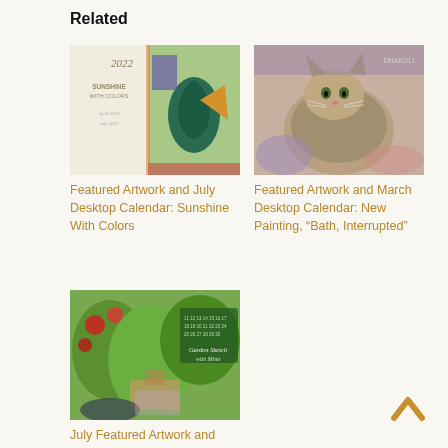Related
[Figure (photo): Calendar cover with colorful abstract bird painting - Sunshine With Colors 2022]
Featured Artwork and July Desktop Calendar: Sunshine With Colors
[Figure (photo): Photo of a fluffy cat resting on a colorful surface]
Featured Artwork and March Desktop Calendar: New Painting, “Bath, Interrupted”
[Figure (photo): Calendar cover with watercolor garden sketch painting - Garden Sketch With Mimi]
July Featured Artwork and Desktop Calendar: Garden Sketch With Mimi
[Figure (illustration): Chevron/caret up navigation arrow icon in tan/gold color]